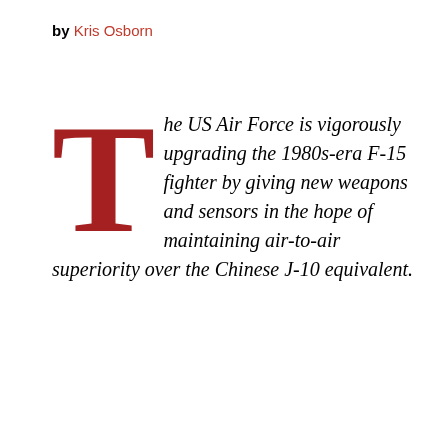by Kris Osborn
The US Air Force is vigorously upgrading the 1980s-era F-15 fighter by giving new weapons and sensors in the hope of maintaining air-to-air superiority over the Chinese J-10 equivalent.
SPONSORED CONTENT